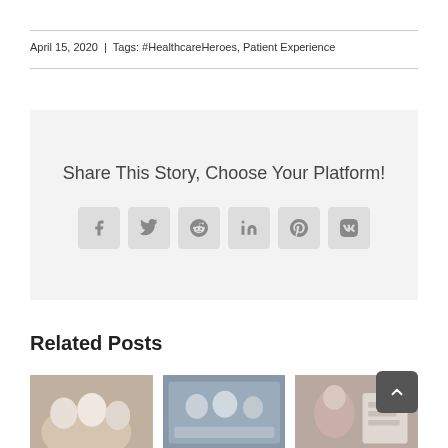April 15, 2020  |  Tags: #HealthcareHeroes, Patient Experience
Share This Story, Choose Your Platform!
[Figure (infographic): Social sharing buttons: Facebook, Twitter, Reddit, LinkedIn, Pinterest, VK]
Related Posts
[Figure (photo): Three related post thumbnail images showing healthcare workers]
[Figure (other): Scroll to top button with upward chevron]